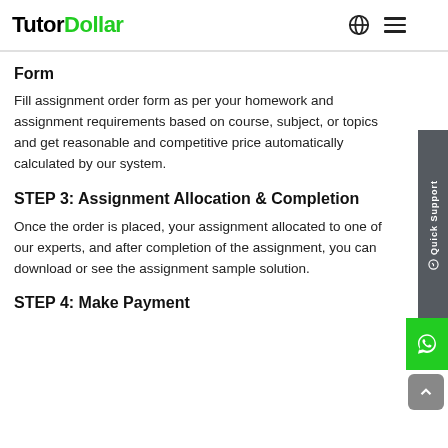TutorDollar
Form
Fill assignment order form as per your homework and assignment requirements based on course, subject, or topics and get reasonable and competitive price automatically calculated by our system.
STEP 3: Assignment Allocation & Completion
Once the order is placed, your assignment allocated to one of our experts, and after completion of the assignment, you can download or see the assignment sample solution.
STEP 4: Make Payment